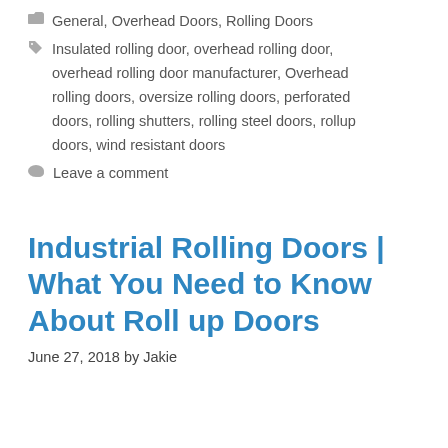General, Overhead Doors, Rolling Doors
Insulated rolling door, overhead rolling door, overhead rolling door manufacturer, Overhead rolling doors, oversize rolling doors, perforated doors, rolling shutters, rolling steel doors, rollup doors, wind resistant doors
Leave a comment
Industrial Rolling Doors | What You Need to Know About Roll up Doors
June 27, 2018 by Jakie